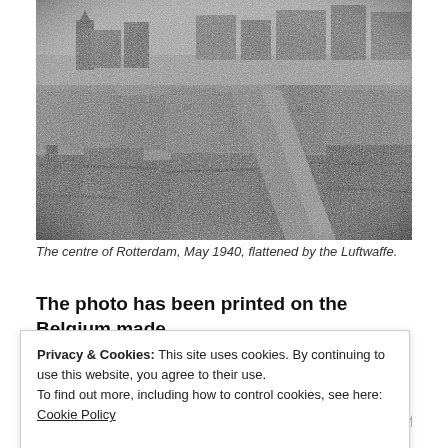[Figure (photo): Black and white aerial photograph showing the centre of Rotterdam in May 1940, devastated and flattened by Luftwaffe bombing. Ruins and rubble extend across the entire city centre, with a few partially standing structures visible on the edges. A church spire is visible in the background left.]
The centre of Rotterdam, May 1940, flattened by the Luftwaffe.
The photo has been printed on the Belgium made
Privacy & Cookies: This site uses cookies. By continuing to use this website, you agree to their use.
To find out more, including how to control cookies, see here: Cookie Policy
be Director General of the British Political Warfare